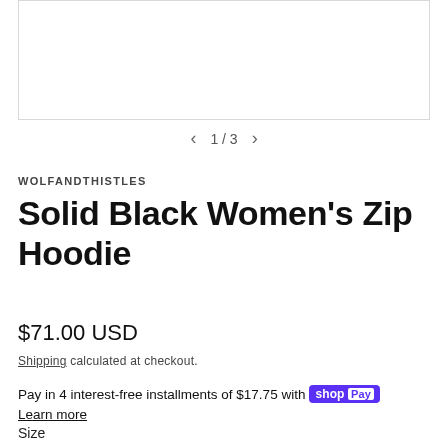[Figure (photo): Product image area with navigation arrows and pagination indicator showing 1/3]
WOLFANDTHISTLES
Solid Black Women's Zip Hoodie
$71.00 USD
Shipping calculated at checkout.
Pay in 4 interest-free installments of $17.75 with shop Pay Learn more
Size